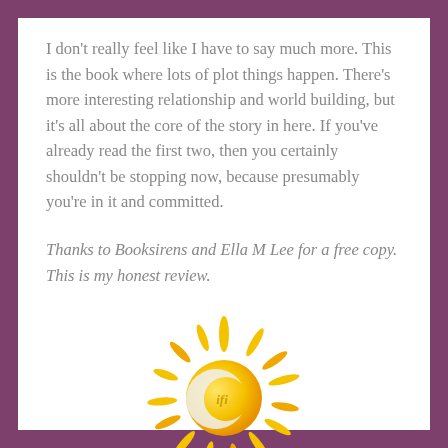I don't really feel like I have to say much more. This is the book where lots of plot things happen. There's more interesting relationship and world building, but it's all about the core of the story in here. If you've already read the first two, then you certainly shouldn't be stopping now, because presumably you're in it and committed.
Thanks to Booksirens and Ella M Lee for a free copy. This is my honest review.
[Figure (logo): A stylized sun logo with yellow and orange rays and a crescent moon shape inside, with the letters 'ifi' in the center circle]